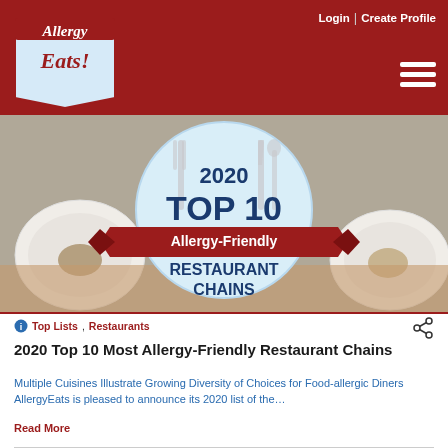AllergyEats — Login | Create Profile
[Figure (logo): AllergyEats logo — red and blue script on white badge shape]
[Figure (infographic): 2020 Top 10 Allergy-Friendly Restaurant Chains banner with fork, knife, plate imagery and red ribbon]
Top Lists, Restaurants
2020 Top 10 Most Allergy-Friendly Restaurant Chains
Multiple Cuisines Illustrate Growing Diversity of Choices for Food-allergic Diners AllergyEats is pleased to announce its 2020 list of the…
Read More